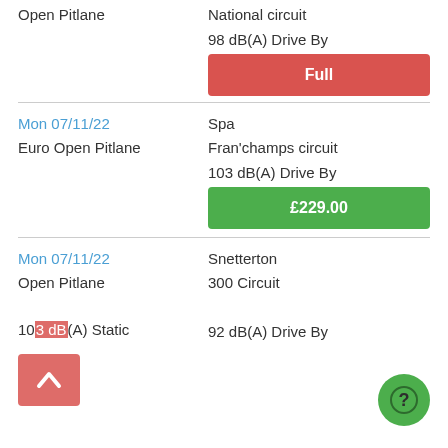Open Pitlane
National circuit
98 dB(A) Drive By
Full
Mon 07/11/22
Spa
Euro Open Pitlane
Fran'champs circuit
103 dB(A) Drive By
£229.00
Mon 07/11/22
Snetterton
Open Pitlane
300 Circuit
103 dB(A) Static
92 dB(A) Drive By